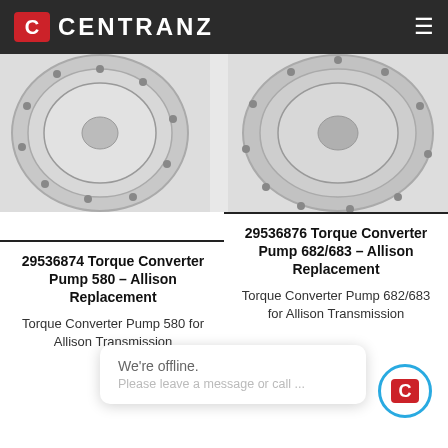CENTRANZ
[Figure (photo): Two torque converter pump wheels (circular metal parts) shown from the front, side by side on a light background.]
29536874 Torque Converter Pump 580 – Allison Replacement
Torque Converter Pump 580 for Allison Transmission
29536876 Torque Converter Pump 682/683 – Allison Replacement
Torque Converter Pump 682/683 for Allison Transmission
We're offline. Please leave a message or call ...